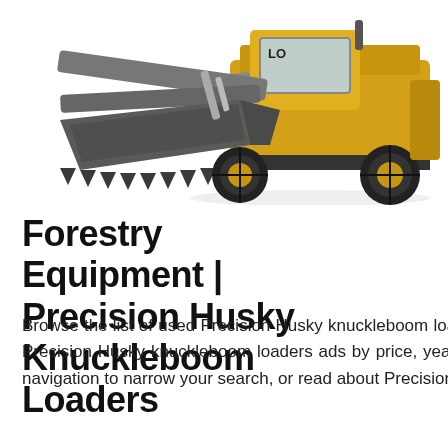[Figure (photo): Front loader / wheel loader construction machine (yellow and black), showing the bucket/blade at bottom and the cab/wheels, photographed against a white background. Partial crop — top and right portions visible.]
Forestry Equipment | Precision Husky Knuckleboom Loaders
Browse the list of used Precision Husky knuckleboom loaders ads available for sale on Mascus. You may sort the Precision Husky knuckleboom loaders ads by price, year of production, or country. Please use the left-hand side navigation to narrow your search, or read about Precision Husky knuckleboom loaders in Brands section.